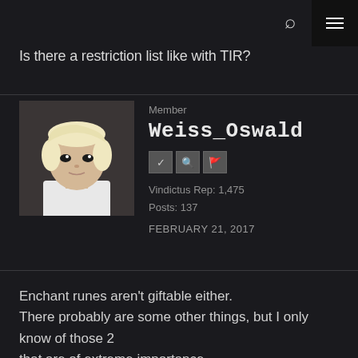Search | Menu
Is there a restriction list like with TIR?
Member
Weiss_Oswald
Vindictus Rep: 1,475
Posts: 137
FEBRUARY 21, 2017
Enchant runes aren't giftable either.
There probably are some other things, but I only know of those 2 that are of extreme importance.